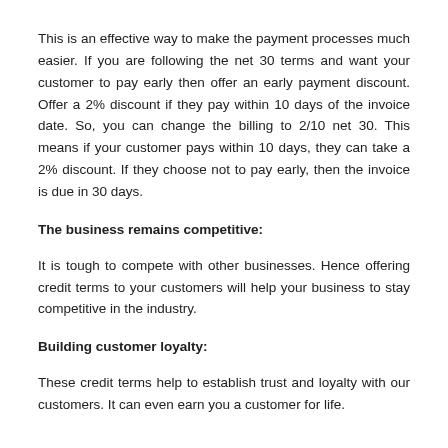This is an effective way to make the payment processes much easier. If you are following the net 30 terms and want your customer to pay early then offer an early payment discount. Offer a 2% discount if they pay within 10 days of the invoice date. So, you can change the billing to 2/10 net 30. This means if your customer pays within 10 days, they can take a 2% discount. If they choose not to pay early, then the invoice is due in 30 days.
The business remains competitive:
It is tough to compete with other businesses. Hence offering credit terms to your customers will help your business to stay competitive in the industry.
Building customer loyalty:
These credit terms help to establish trust and loyalty with our customers. It can even earn you a customer for life.